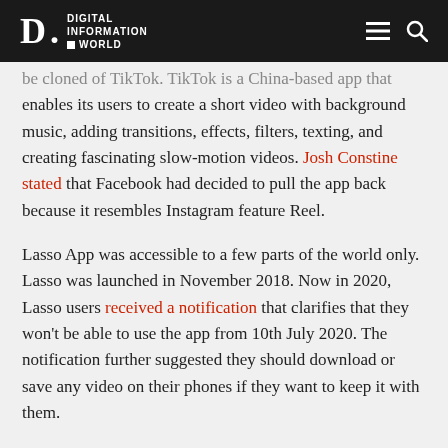Digital Information World
be cloned of TikTok. TikTok is a China-based app that enables its users to create a short video with background music, adding transitions, effects, filters, texting, and creating fascinating slow-motion videos. Josh Constine stated that Facebook had decided to pull the app back because it resembles Instagram feature Reel.
Lasso App was accessible to a few parts of the world only. Lasso was launched in November 2018. Now in 2020, Lasso users received a notification that clarifies that they won't be able to use the app from 10th July 2020. The notification further suggested they should download or save any video on their phones if they want to keep it with them.